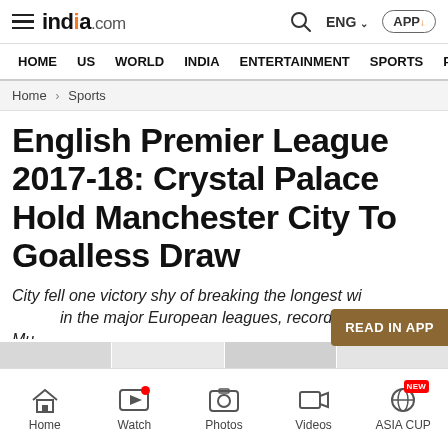india.com — ENG — APP — Search
HOME  US  WORLD  INDIA  ENTERTAINMENT  SPORTS  PHO
Home > Sports
English Premier League 2017-18: Crystal Palace Hold Manchester City To Goalless Draw
City fell one victory shy of breaking the longest wi... in the major European leagues, recorded by Bayern...
Home  Watch  Photos  Videos  ASIA CUP